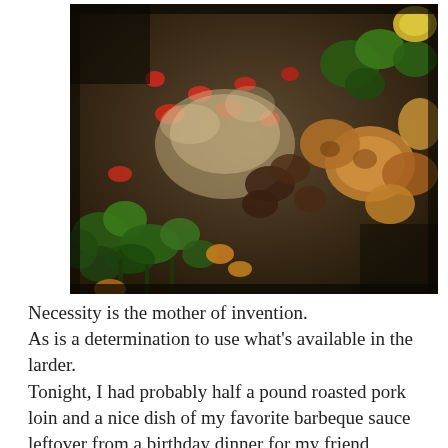[Figure (photo): Close-up photograph of a roasted vegetable and meat dish featuring broccoli, red peppers, potatoes, and pork loin with sauce, taken in low/warm lighting.]
Necessity is the mother of invention.
As is a determination to use what's available in the larder.
Tonight, I had probably half a pound roasted pork loin and a nice dish of my favorite barbeque sauce leftover from a birthday dinner for my friend, Lani.   I had, however, eaten the side that went with it for lunch.  Of course I